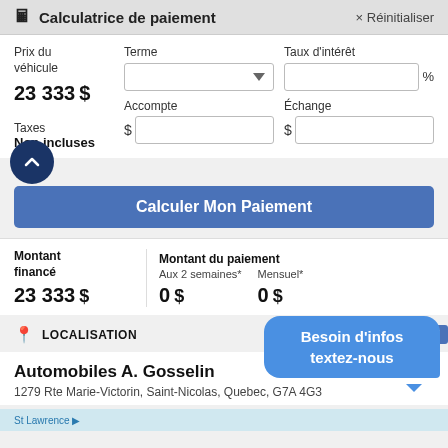Calculatrice de paiement   × Réinitialiser
Prix du véhicule
23 333 $
Taxes
Non incluses
Terme [dropdown]
Taux d'intérêt [input] %
Accompte $ [input]
Échange $ [input]
Calculer Mon Paiement
Montant financé
23 333 $
Montant du paiement
Aux 2 semaines*
0 $
Mensuel*
0 $
LOCALISATION
Besoin d'infos textez-nous
Automobiles A. Gosselin
1279 Rte Marie-Victorin, Saint-Nicolas, Quebec, G7A 4G3